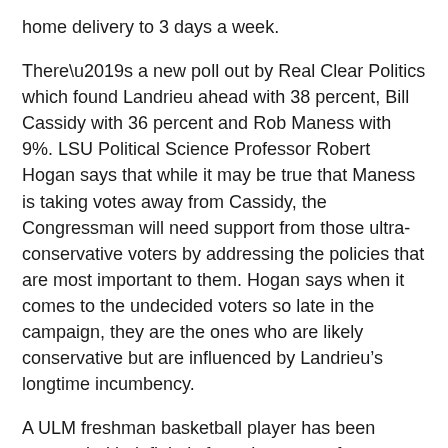home delivery to 3 days a week.
There’s a new poll out by Real Clear Politics which found Landrieu ahead with 38 percent, Bill Cassidy with 36 percent and Rob Maness with 9%. LSU Political Science Professor Robert Hogan says that while it may be true that Maness is taking votes away from Cassidy, the Congressman will need support from those ultra-conservative voters by addressing the policies that are most important to them. Hogan says when it comes to the undecided voters so late in the campaign, they are the ones who are likely conservative but are influenced by Landrieu’s longtime incumbency.
A ULM freshman basketball player has been suspended indefinitely from the team, after an alleged rape of a female student Sunday night. University spokesperson Donna Bernard says police interviewed the alleged victim the next day. That player charged is 18 year-old Roderick Taylor.
Governor Bobby Jindal has 14 months left in office and